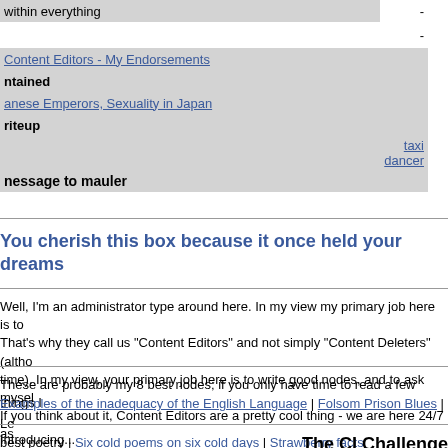| within everything | - |
|  | - |
| Content Editors - My Endorsements |  |
| ntained |  |
| anese Emperors, Sexuality in Japan |  |
| riteup |  |
|  | taxi dancer |
| nessage to mauler |  |
You cherish this box because it once held your dreams
Well, I'm an administrator type around here. In my view my primary job here is to That's why they call us "Content Editors" and not simply "Content Deleters" (altho time). In my view, your primary job here is to write good nodes, and to ask mysel If you think about it, Content Editors are a pretty cool thing - we are here 24/7 as
These are probably my 8 best nodes; if you only have time to read a few things I
Examples of the inadequacy of the English Language | Folsom Prison Blues | Le best poetry | Six cold poems on six cold days | Strawberry facts
Introducing...
The CI Challenge